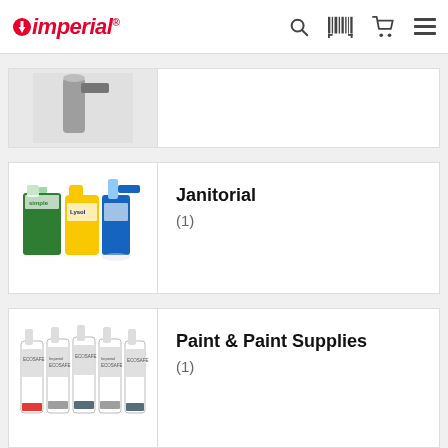Imperial
[Figure (screenshot): Partial product image (spray/tool) - category card cut off at top]
Janitorial
(1)
[Figure (photo): Janitorial supplies: Simple Green gallon jug, Lysol wipes, blue spray bottle]
Paint & Paint Supplies
(1)
[Figure (photo): Paint supplies: multiple Ecosafe spray paint cans from Imperial brand]